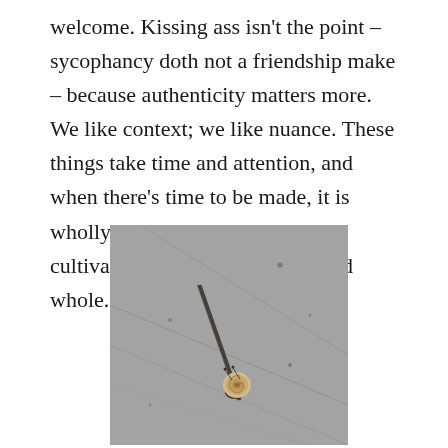welcome. Kissing ass isn't the point – sycophancy doth not a friendship make – because authenticity matters more. We like context; we like nuance. These things take time and attention, and when there's time to be made, it is wholly taken. Chemistry can be cultivated, but it cannot be created whole.
[Figure (photo): A photograph of a small snail with a spiral shell on a grey concrete or stone surface, viewed from above. Dark diagonal lines or shadows cross the rough textured surface.]